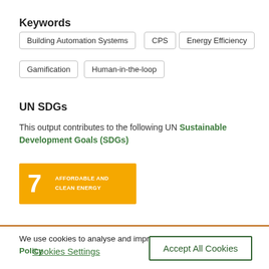Keywords
Building Automation Systems
CPS
Energy Efficiency
Gamification
Human-in-the-loop
UN SDGs
This output contributes to the following UN Sustainable Development Goals (SDGs)
[Figure (infographic): UN SDG badge: Goal 7 - Affordable and Clean Energy. Orange/yellow background with white text and number 7.]
We use cookies to analyse and improve our service.  Cookie Policy
Cookies Settings
Accept All Cookies